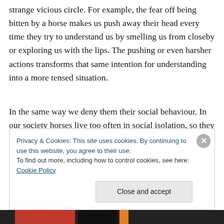strange vicious circle. For example, the fear off being bitten by a horse makes us push away their head every time they try to understand us by smelling us from closeby or exploring us with the lips. The pushing or even harsher actions transforms that same intention for understanding into a more tensed situation.
In the same way we deny them their social behaviour. In our society horses live too often in social isolation, so they can't express themselves through social behaviour and this is something that by now we all know (even if most
Privacy & Cookies: This site uses cookies. By continuing to use this website, you agree to their use.
To find out more, including how to control cookies, see here: Cookie Policy